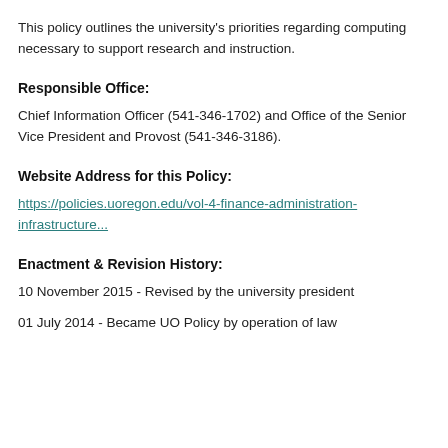This policy outlines the university's priorities regarding computing necessary to support research and instruction.
Responsible Office:
Chief Information Officer (541-346-1702) and Office of the Senior Vice President and Provost (541-346-3186).
Website Address for this Policy:
https://policies.uoregon.edu/vol-4-finance-administration-infrastructure...
Enactment & Revision History:
10 November 2015 - Revised by the university president
01 July 2014 - Became UO Policy by operation of law